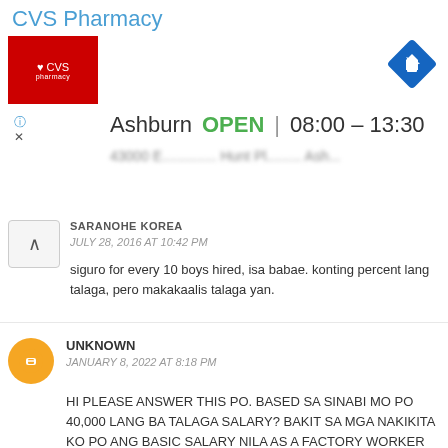[Figure (screenshot): CVS Pharmacy Google Maps listing showing store in Ashburn, OPEN 08:00-13:30, with CVS logo and navigation icon]
SARANOHE KOREA
JULY 28, 2016 AT 10:42 PM
siguro for every 10 boys hired, isa babae. konting percent lang talaga, pero makakaalis talaga yan.
UNKNOWN
JANUARY 8, 2022 AT 8:18 PM
HI PLEASE ANSWER THIS PO. BASED SA SINABI MO PO 40,000 LANG BA TALAGA SALARY? BAKIT SA MGA NAKIKITA KO PO ANG BASIC SALARY NILA AS A FACTORY WORKER IS 80,000? PAANO KUNG WALANG OVERTIME SA ISANG LINGGO? EDI 40,000 LANG TALAGA? PAANO MAGKAKASYA PARA SA ACCOMMODATION? FOOD? PLEASE EXPLAIN NYO PO SAKEN.
Reply
NIKNOK